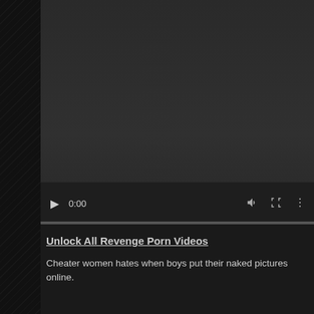[Figure (screenshot): Embedded video player with dark background, play button, timestamp 0:00, volume/fullscreen/more controls, and progress bar]
Unlock All Revenge Porn Videos
Cheater women hates when boys put their naked pictures online.